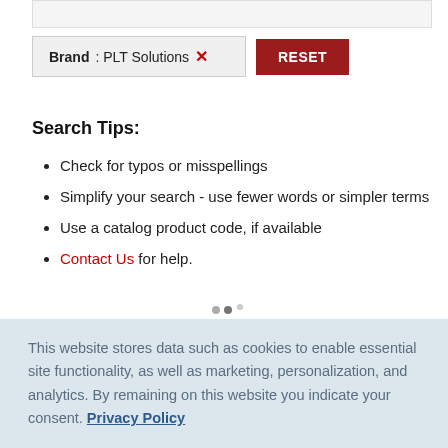Brand : PLT Solutions ✕
RESET
Search Tips:
Check for typos or misspellings
Simplify your search - use fewer words or simpler terms
Use a catalog product code, if available
Contact Us for help.
This website stores data such as cookies to enable essential site functionality, as well as marketing, personalization, and analytics. By remaining on this website you indicate your consent. Privacy Policy